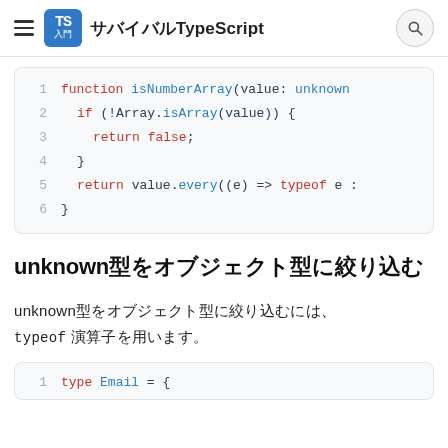サバイバルTypeScript
[Figure (screenshot): Code block showing a TypeScript function isNumberArray with 6 lines: function definition, if Array.isArray check, return false, closing brace, return value.every arrow function, closing brace]
unknown型をオブジェクト型に絞り込む
unknown型をオブジェクト型に絞り込むには、typeof 演算子を用います。
[Figure (screenshot): Code block showing beginning of TypeScript type Email definition (partial, cut off)]